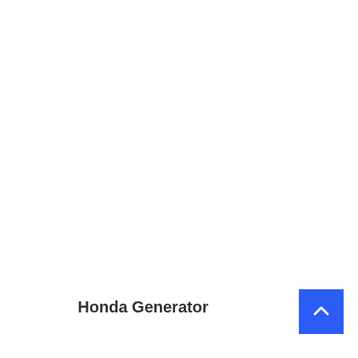Honda Generator
[Figure (other): Blue scroll-to-top button with upward chevron arrow icon in bottom-right corner]